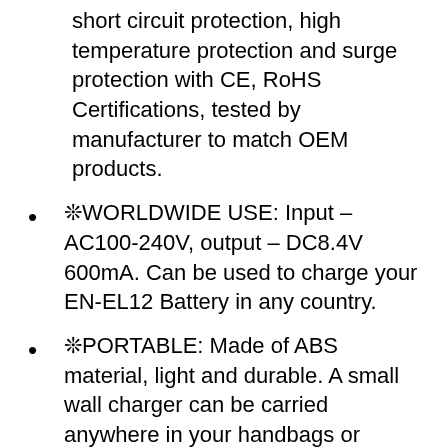short circuit protection, high temperature protection and surge protection with CE, RoHS Certifications, tested by manufacturer to match OEM products.
❊WORLDWIDE USE: Input – AC100-240V, output – DC8.4V 600mA. Can be used to charge your EN-EL12 Battery in any country.
❊PORTABLE: Made of ABS material, light and durable. A small wall charger can be carried anywhere in your handbags or pocket. Ideal for travel or other indoor/outdoor activities.
❊SERVICES: 30 Days Free Refund & 1 Year Free Replacement. Lifetime